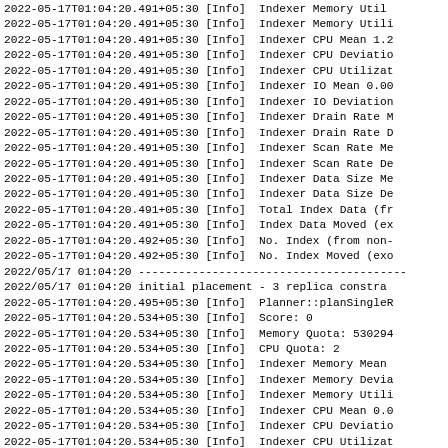2022-05-17T01:04:20.491+05:30 [Info] Indexer Memory Util...
2022-05-17T01:04:20.491+05:30 [Info] Indexer Memory Utili
2022-05-17T01:04:20.491+05:30 [Info] Indexer CPU Mean 1.2
2022-05-17T01:04:20.491+05:30 [Info] Indexer CPU Deviatio
2022-05-17T01:04:20.491+05:30 [Info] Indexer CPU Utilizat
2022-05-17T01:04:20.491+05:30 [Info] Indexer IO Mean 0.00
2022-05-17T01:04:20.491+05:30 [Info] Indexer IO Deviation
2022-05-17T01:04:20.491+05:30 [Info] Indexer Drain Rate M
2022-05-17T01:04:20.491+05:30 [Info] Indexer Drain Rate D
2022-05-17T01:04:20.491+05:30 [Info] Indexer Scan Rate Me
2022-05-17T01:04:20.491+05:30 [Info] Indexer Scan Rate De
2022-05-17T01:04:20.491+05:30 [Info] Indexer Data Size Me
2022-05-17T01:04:20.491+05:30 [Info] Indexer Data Size De
2022-05-17T01:04:20.491+05:30 [Info] Total Index Data (fr
2022-05-17T01:04:20.491+05:30 [Info] Index Data Moved (ex
2022-05-17T01:04:20.492+05:30 [Info] No. Index (from non-
2022-05-17T01:04:20.492+05:30 [Info] No. Index Moved (exo
2022/05/17 01:04:20 -------------------------------------------
2022/05/17 01:04:20 initial placement - 3 replica constra
2022-05-17T01:04:20.495+05:30 [Info] Planner::planSingleR
2022-05-17T01:04:20.534+05:30 [Info] Score: 0
2022-05-17T01:04:20.534+05:30 [Info] Memory Quota: 530294
2022-05-17T01:04:20.534+05:30 [Info] CPU Quota: 2
2022-05-17T01:04:20.534+05:30 [Info] Indexer Memory Mean
2022-05-17T01:04:20.534+05:30 [Info] Indexer Memory Devia
2022-05-17T01:04:20.534+05:30 [Info] Indexer Memory Utili
2022-05-17T01:04:20.534+05:30 [Info] Indexer CPU Mean 0.0
2022-05-17T01:04:20.534+05:30 [Info] Indexer CPU Deviatio
2022-05-17T01:04:20.534+05:30 [Info] Indexer CPU Utilizat
2022-05-17T01:04:20.534+05:30 [Info] Indexer IO Mean 0.00
2022-05-17T01:04:20.534+05:30 [Info] Indexer IO Deviatio